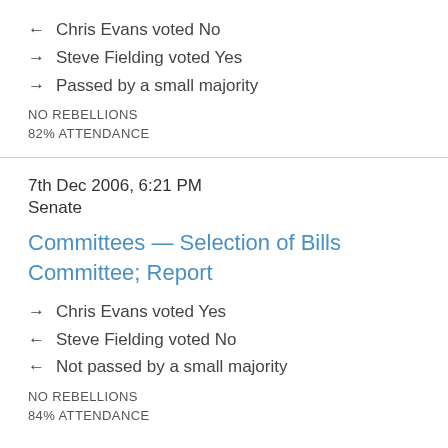← Chris Evans voted No
→ Steve Fielding voted Yes
→ Passed by a small majority
NO REBELLIONS
82% ATTENDANCE
7th Dec 2006, 6:21 PM
Senate
Committees — Selection of Bills Committee; Report
→ Chris Evans voted Yes
← Steve Fielding voted No
← Not passed by a small majority
NO REBELLIONS
84% ATTENDANCE